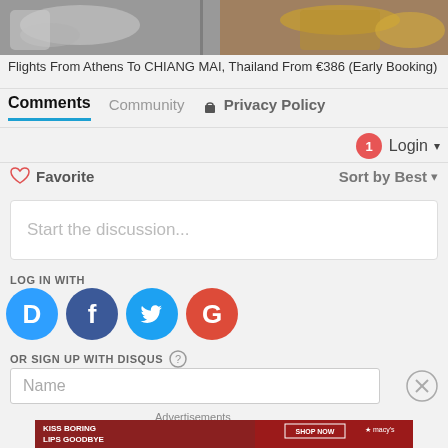[Figure (photo): Top portion of a decorative image showing Thai temple artifacts and ornate objects in silver and gold]
Flights From Athens To CHIANG MAI, Thailand From €386 (Early Booking)
Comments  Community  🔒 Privacy Policy
1  Login ▾
♡ Favorite  Sort by Best ▾
Start the discussion...
LOG IN WITH
[Figure (illustration): Social login icons: Disqus (D), Facebook (f), Twitter bird, Google (G)]
OR SIGN UP WITH DISQUS ?
Name
Advertisements
[Figure (photo): Macy's advertisement - KISS BORING LIPS GOODBYE with SHOP NOW button and Macy's star logo, featuring a woman's face with red lipstick]